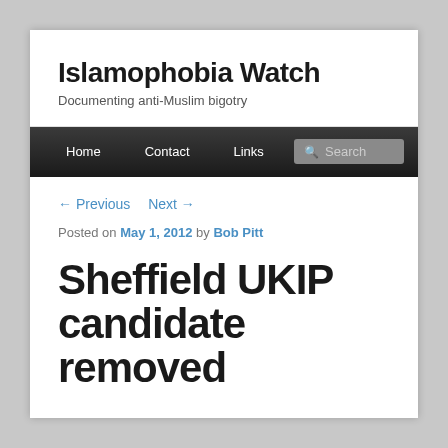Islamophobia Watch
Documenting anti-Muslim bigotry
Home   Contact   Links   Search
← Previous   Next →
Posted on May 1, 2012 by Bob Pitt
Sheffield UKIP candidate removed